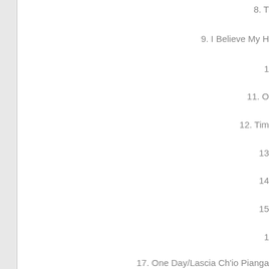8. T
9. I Believe My H
1
11. O
12. Tim
13
14
15
1
17. One Day/Lascia Ch'io Pianga